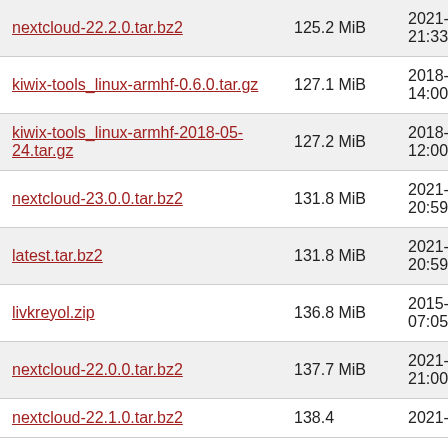| Name | Size | Date |
| --- | --- | --- |
| nextcloud-22.2.0.tar.bz2 | 125.2 MiB | 2021-Sep-29 21:33 |
| kiwix-tools_linux-armhf-0.6.0.tar.gz | 127.1 MiB | 2018-Jun-20 14:00 |
| kiwix-tools_linux-armhf-2018-05-24.tar.gz | 127.2 MiB | 2018-May-24 12:00 |
| nextcloud-23.0.0.tar.bz2 | 131.8 MiB | 2021-Nov-26 20:59 |
| latest.tar.bz2 | 131.8 MiB | 2021-Nov-26 20:59 |
| livkreyol.zip | 136.8 MiB | 2015-May-18 07:05 |
| nextcloud-22.0.0.tar.bz2 | 137.7 MiB | 2021-Jul-05 21:00 |
| nextcloud-22.1.0.tar.bz2 | 138.4 MiB | 2021-Aug-04 ... |